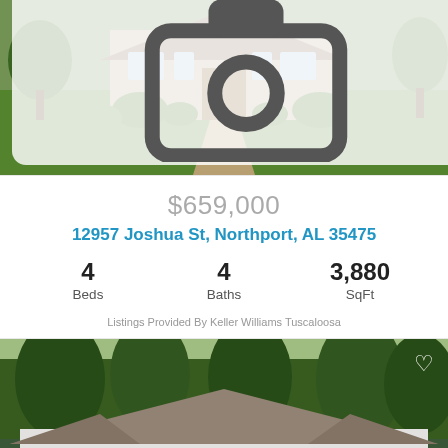[Figure (photo): Exterior front view of a brick and stone single-story home with lush green lawn, shrubs, and a paved walkway leading to the front door. Photo count badge showing camera icon and 39.]
📷 39
$659,000
12957 Joshua St, Northport, AL 35475
4 Beds  4 Baths  3,880 SqFt
Listings Provided By Keller Williams Tuscaloosa
[Figure (photo): Exterior front view of a white single-story ranch-style home with a gray hip roof, covered front porch, green lawn, and tall pine trees in the background. Heart favorite icon in top right corner.]